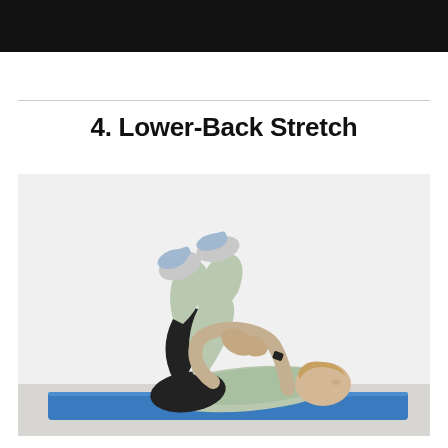4. Lower-Back Stretch
[Figure (photo): Woman lying on her back on a blue yoga mat, knees pulled up to her chest with both hands, performing a lower-back stretch. She is wearing a light green top and black shorts with grey athletic shoes. The background is a plain white wall with a light grey floor.]